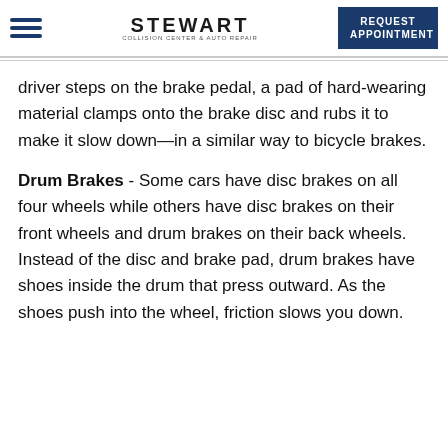STEWART COLLISION CENTER & AUTO REPAIR — REQUEST APPOINTMENT
driver steps on the brake pedal, a pad of hard-wearing material clamps onto the brake disc and rubs it to make it slow down—in a similar way to bicycle brakes.
Drum Brakes - Some cars have disc brakes on all four wheels while others have disc brakes on their front wheels and drum brakes on their back wheels. Instead of the disc and brake pad, drum brakes have shoes inside the drum that press outward. As the shoes push into the wheel, friction slows you down.